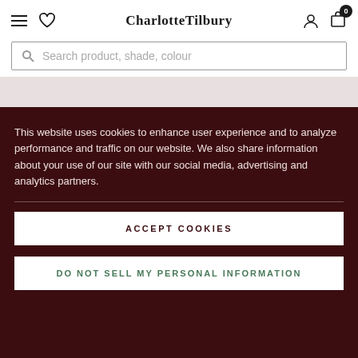CharlotteTilbury — navigation header with menu, wishlist, account, and cart icons
Search product, shade, colour
This website uses cookies to enhance user experience and to analyze performance and traffic on our website. We also share information about your use of our site with our social media, advertising and analytics partners.
ACCEPT COOKIES
DO NOT SELL MY PERSONAL INFORMATION